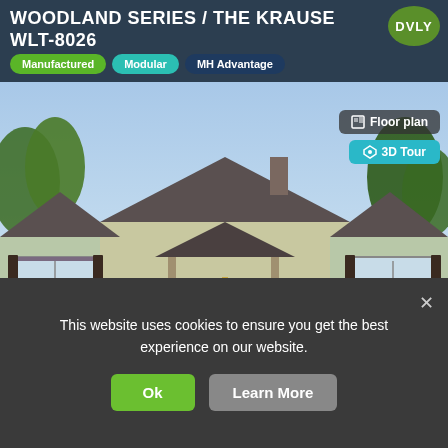WOODLAND SERIES / THE KRAUSE WLT-8026
Manufactured
Modular
MH Advantage
[Figure (photo): Exterior photo of a manufactured/modular home - Woodland Series The Krause WLT-8026, blue-gray siding with covered front porch and dark shutters]
4 bedrooms  2.5 bathrooms  2520 ft²  47'0" x 80'0"
Info
Custom Price Quote
This website uses cookies to ensure you get the best experience on our website.
Ok
Learn More